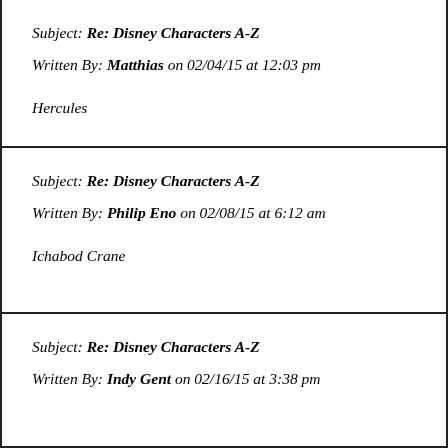Subject: Re: Disney Characters A-Z
Written By: Matthias on 02/04/15 at 12:03 pm

Hercules
Subject: Re: Disney Characters A-Z
Written By: Philip Eno on 02/08/15 at 6:12 am

Ichabod Crane
Subject: Re: Disney Characters A-Z
Written By: Indy Gent on 02/16/15 at 3:38 pm